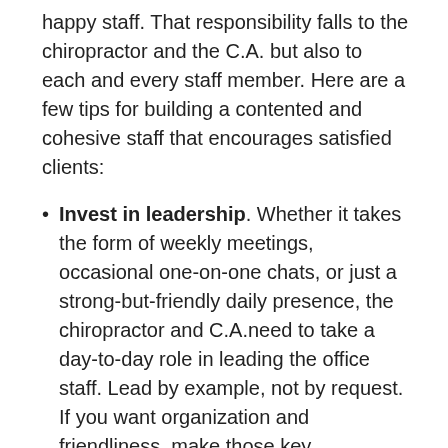happy staff. That responsibility falls to the chiropractor and the C.A. but also to each and every staff member. Here are a few tips for building a contented and cohesive staff that encourages satisfied clients:
Invest in leadership. Whether it takes the form of weekly meetings, occasional one-on-one chats, or just a strong-but-friendly daily presence, the chiropractor and C.A.need to take a day-to-day role in leading the office staff. Lead by example, not by request. If you want organization and friendliness, make those key components of your daily demeanor